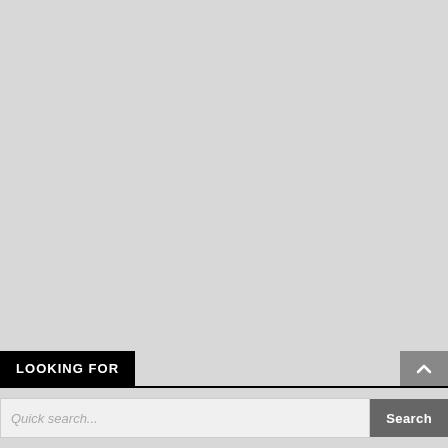LOOKING FOR
Search input area with search button